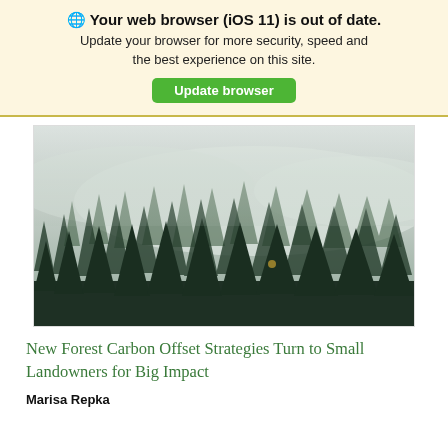🌐 Your web browser (iOS 11) is out of date. Update your browser for more security, speed and the best experience on this site.
Update browser
[Figure (photo): Misty conifer forest with fog rolling over dark green pine trees covering a hillside, foggy sky background]
New Forest Carbon Offset Strategies Turn to Small Landowners for Big Impact
Marisa Repka